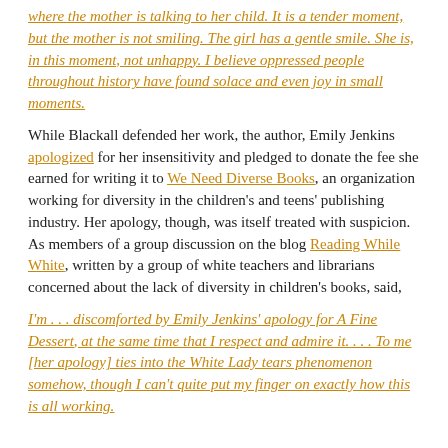where the mother is talking to her child. It is a tender moment, but the mother is not smiling. The girl has a gentle smile. She is, in this moment, not unhappy. I believe oppressed people throughout history have found solace and even joy in small moments.
While Blackall defended her work, the author, Emily Jenkins apologized for her insensitivity and pledged to donate the fee she earned for writing it to We Need Diverse Books, an organization working for diversity in the children's and teens' publishing industry. Her apology, though, was itself treated with suspicion. As members of a group discussion on the blog Reading While White, written by a group of white teachers and librarians concerned about the lack of diversity in children's books, said,
I'm . . . discomforted by Emily Jenkins' apology for A Fine Dessert, at the same time that I respect and admire it. . . . To me [her apology] ties into the White Lady tears phenomenon somehow, though I can't quite put my finger on exactly how this is all working.